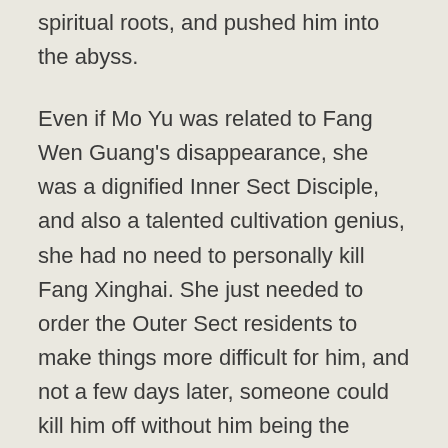spiritual roots, and pushed him into the abyss.
Even if Mo Yu was related to Fang Wen Guang's disappearance, she was a dignified Inner Sect Disciple, and also a talented cultivation genius, she had no need to personally kill Fang Xinghai. She just needed to order the Outer Sect residents to make things more difficult for him, and not a few days later, someone could kill him off without him being the wiser. Judging by her ruthless means, she probably had a private hatred for Fang Xinghai.
Zhou Yun Sheng repeatedly raided the memories in his brain, but he couldn't find any intersection between Fang Xinghai and Mo Yu. An Outer Sect waste wood, the Sect Leader's beloved daughter, their